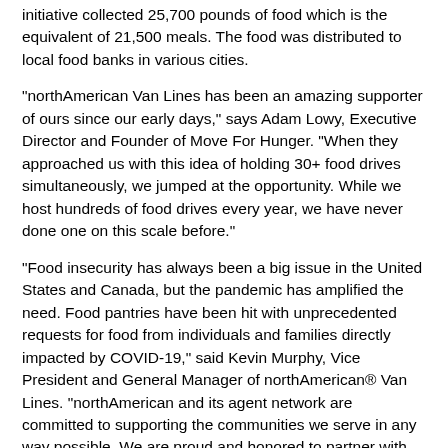initiative collected 25,700 pounds of food which is the equivalent of 21,500 meals. The food was distributed to local food banks in various cities.
"northAmerican Van Lines has been an amazing supporter of ours since our early days," says Adam Lowy, Executive Director and Founder of Move For Hunger. "When they approached us with this idea of holding 30+ food drives simultaneously, we jumped at the opportunity. While we host hundreds of food drives every year, we have never done one on this scale before."
"Food insecurity has always been a big issue in the United States and Canada, but the pandemic has amplified the need. Food pantries have been hit with unprecedented requests for food from individuals and families directly impacted by COVID-19," said Kevin Murphy, Vice President and General Manager of northAmerican® Van Lines. "northAmerican and its agent network are committed to supporting the communities we serve in any way possible. We are proud and honored to partner with Move for Hunger, an organization that is making a difference in the fight against hunger."